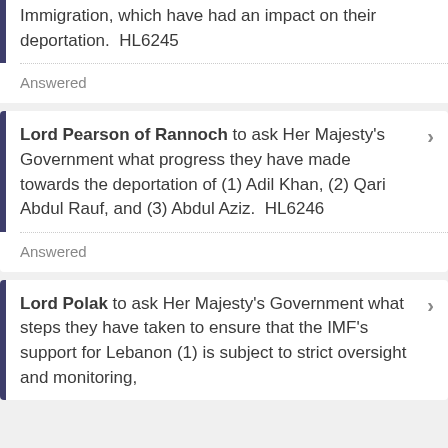Immigration, which have had an impact on their deportation.  HL6245
Answered
Lord Pearson of Rannoch to ask Her Majesty's Government what progress they have made towards the deportation of (1) Adil Khan, (2) Qari Abdul Rauf, and (3) Abdul Aziz.  HL6246
Answered
Lord Polak to ask Her Majesty's Government what steps they have taken to ensure that the IMF's support for Lebanon (1) is subject to strict oversight and monitoring, and (2) has a clear aim; and to report it.